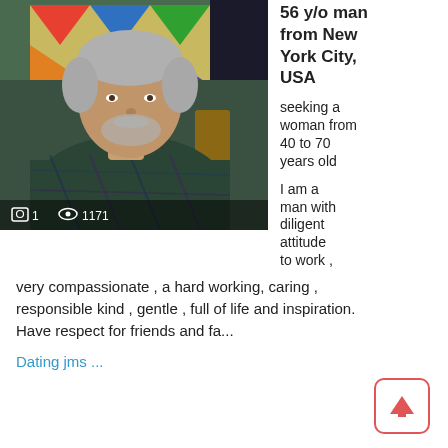[Figure (photo): Middle-aged man with gray hair and beard wearing a dark plaid flannel shirt, seated indoors with colorful abstract art in the background. Photo overlay shows camera icon with '1' and eye icon with '1171'.]
56 y/o man from New York City, USA

seeking a woman from 40 to 70 years old

I am a man with diligent attitude to work ,
very compassionate , a hard working, caring , responsible kind , gentle , full of life and inspiration. Have respect for friends and fa...
Dating jms ...